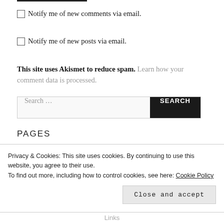Notify me of new comments via email.
Notify me of new posts via email.
This site uses Akismet to reduce spam. Learn how your comment data is processed.
Search …
PAGES
Privacy & Cookies: This site uses cookies. By continuing to use this website, you agree to their use. To find out more, including how to control cookies, see here: Cookie Policy
Close and accept
Links